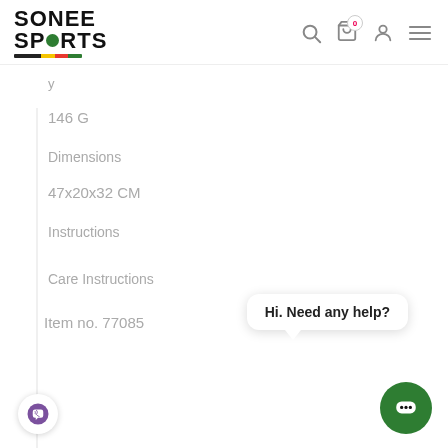Sonee Sports
146 G
Dimensions
47x20x32 CM
Instructions
Care Instructions
Item no. 77085